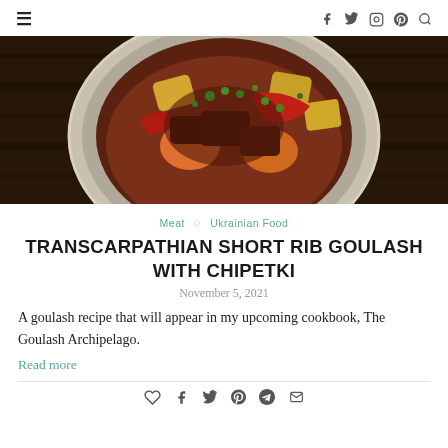≡  f  🐦  Instagram  Pinterest  🔍
[Figure (photo): Overhead view of a bowl of goulash with vegetables, potatoes, carrots, red peppers and herbs, on a dark wooden background]
Meat ◇ Ukrainian Food
TRANSCARPATHIAN SHORT RIB GOULASH WITH CHIPETKI
November 5, 2021
A goulash recipe that will appear in my upcoming cookbook, The Goulash Archipelago.
Read more
♡  f  🐦  Pinterest  Telegram  ✉